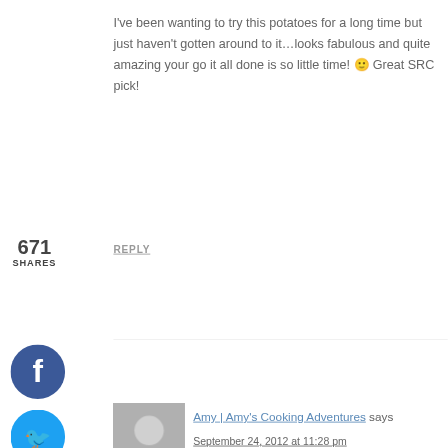I've been wanting to try this potatoes for a long time but just haven't gotten around to it…looks fabulous and quite amazing your go it all done is so little time! 🙂 Great SRC pick!
671 SHARES
REPLY
[Figure (logo): Facebook share button - blue circle with white f]
[Figure (logo): Twitter share button - light blue circle with white bird]
[Figure (logo): Pinterest share button - red circle with white P and 671 count]
[Figure (logo): Yummly share button - orange circle with Yum text]
Amy | Amy's Cooking Adventures says
September 24, 2012 at 11:28 pm
These look amazing and thank you for sharing your slicing tips!
REPLY